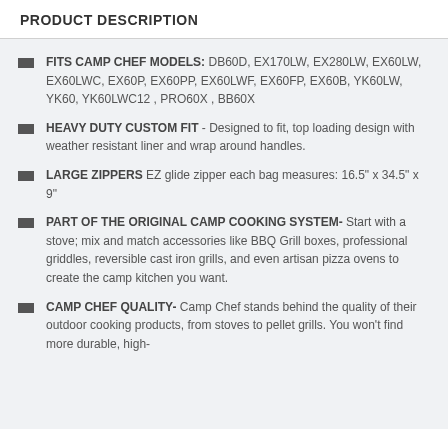PRODUCT DESCRIPTION
FITS CAMP CHEF MODELS: DB60D, EX170LW, EX280LW, EX60LW, EX60LWC, EX60P, EX60PP, EX60LWF, EX60FP, EX60B, YK60LW, YK60, YK60LWC12 , PRO60X , BB60X
HEAVY DUTY CUSTOM FIT - Designed to fit, top loading design with weather resistant liner and wrap around handles.
LARGE ZIPPERS EZ glide zipper each bag measures: 16.5" x 34.5" x 9"
PART OF THE ORIGINAL CAMP COOKING SYSTEM- Start with a stove; mix and match accessories like BBQ Grill boxes, professional griddles, reversible cast iron grills, and even artisan pizza ovens to create the camp kitchen you want.
CAMP CHEF QUALITY- Camp Chef stands behind the quality of their outdoor cooking products, from stoves to pellet grills. You won’t find more durable, high-